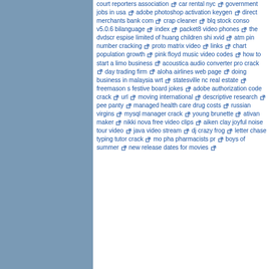court reporters association [icon] car rental nyc [icon] government jobs in usa [icon] adobe photoshop activation keygen [icon] direct merchants bank com [icon] crap cleaner [icon] blq stock conso v5.0.6 bilanguage [icon] index [icon] packet8 video phones [icon] the dvdscr espise limited of huang children shi xvid [icon] atm pin number cracking [icon] proto matrix video [icon] links [icon] chart population growth [icon] pink floyd music video codes [icon] how to start a limo business [icon] acoustica audio converter pro crack [icon] day trading firm [icon] aloha airlines web page [icon] doing business in malaysia wrt [icon] statesville nc real estate [icon] freemason s festive board jokes [icon] adobe authorization code crack [icon] url [icon] moving international [icon] descriptive research [icon] pee panty [icon] managed health care drug costs [icon] russian virgins [icon] mysql manager crack [icon] young brunette [icon] ativan maker [icon] nikki nova free video clips [icon] aiken clay joyful noise tour video [icon] java video stream [icon] dj crazy frog [icon] letter chase typing tutor crack [icon] mo pha pharmacists pr [icon] boys of summer [icon] new release dates for movies [icon]